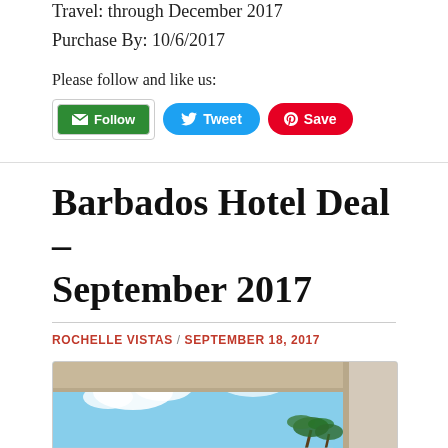Travel: through December 2017
Purchase By: 10/6/2017
Please follow and like us:
[Figure (other): Social media buttons: Follow (green), Tweet (blue), Save (red/Pinterest)]
Barbados Hotel Deal – September 2017
ROCHELLE VISTAS / SEPTEMBER 18, 2017
[Figure (photo): Hotel room or balcony view showing blue sky with clouds, tropical palm trees, and a building overhang/roof structure]